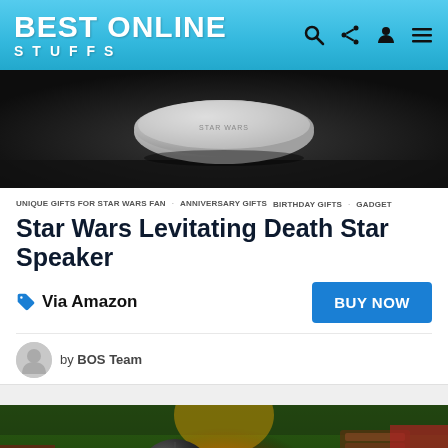BEST ONLINE STUFFS
[Figure (photo): Death Star levitating speaker product photo on dark background]
UNIQUE GIFTS FOR STAR WARS FAN   ANNIVERSARY GIFTS   BIRTHDAY GIFTS   GADGET
Star Wars Levitating Death Star Speaker
Via Amazon
BUY NOW
by BOS Team
[Figure (photo): Outdoor fire pit scene with Death Star shaped object, camp chairs, and firewood]